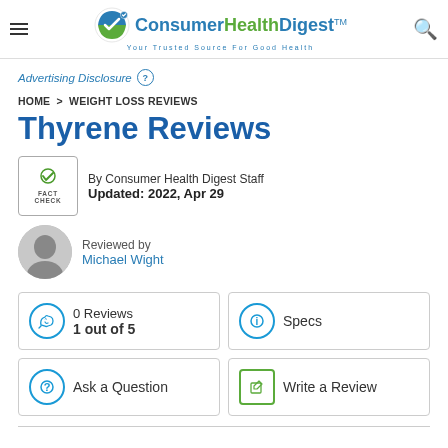Consumer Health Digest — Your Trusted Source For Good Health
Advertising Disclosure
HOME > WEIGHT LOSS REVIEWS
Thyrene Reviews
By Consumer Health Digest Staff
Updated: 2022, Apr 29
Reviewed by
Michael Wight
0 Reviews
1 out of 5
Specs
Ask a Question
Write a Review